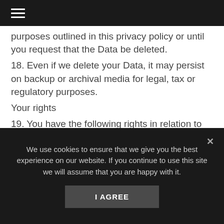≡
purposes outlined in this privacy policy or until you request that the Data be deleted.
18. Even if we delete your Data, it may persist on backup or archival media for legal, tax or regulatory purposes.
Your rights
19. You have the following rights in relation to your Data:
a. Right to access – the right to request (i) copies of the information we hold about you at any time, or (ii) that we modify, update or delete such information. If
We use cookies to ensure that we give you the best experience on our website. If you continue to use this site we will assume that you are happy with it.
I AGREE